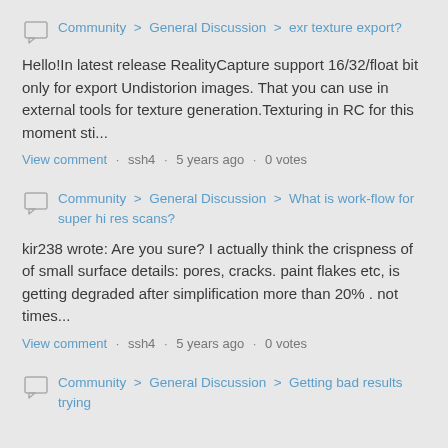Community > General Discussion > exr texture export?
Hello!In latest release RealityCapture support 16/32/float bit only for export Undistorion images. That you can use in external tools for texture generation.Texturing in RC for this moment sti...
View comment · ssh4 · 5 years ago · 0 votes
Community > General Discussion > What is work-flow for super hi res scans?
kir238 wrote: Are you sure? I actually think the crispness of of small surface details: pores, cracks. paint flakes etc, is getting degraded after simplification more than 20% . not times...
View comment · ssh4 · 5 years ago · 0 votes
Community > General Discussion > Getting bad results trying